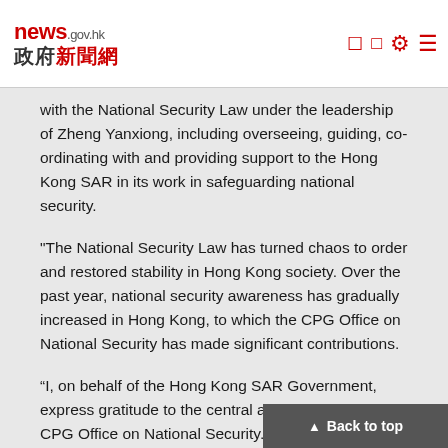news.gov.hk 政府新聞網
with the National Security Law under the leadership of Zheng Yanxiong, including overseeing, guiding, co-ordinating with and providing support to the Hong Kong SAR in its work in safeguarding national security.
"The National Security Law has turned chaos to order and restored stability in Hong Kong society. Over the past year, national security awareness has gradually increased in Hong Kong, to which the CPG Office on National Security has made significant contributions.
“I, on behalf of the Hong Kong SAR Government, express gratitude to the central authorities and the CPG Office on National Security.”
The Chief Executive also fully acknowledged the effective enforcement of the National Security Law by the Police National Security Department over the past year, noting that they have been taking up the responsibility of safeguarding national security steadfastly.
"Safeguarding national security is an honourable and vital duty. As the national security risks in the Hong Kong SAR ha...